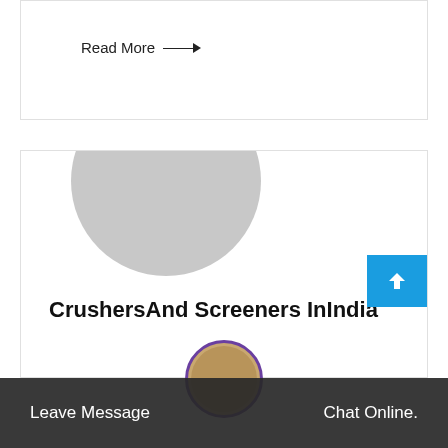Read More →
[Figure (photo): Large circular grey avatar placeholder image]
CrushersAnd Screeners InIndia
CrushersAnd Screeners InIndia.CrushersScreene... Conveyor Manufactur...dia.Indianmarket ...ushers...ers benc...pme.
Leave Message
[Figure (photo): Customer support chat avatar - woman with headset]
Chat Online.